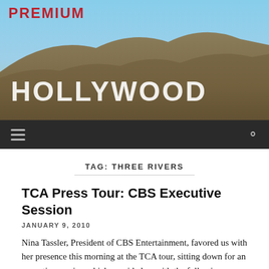[Figure (photo): Hollywood sign on hillside with blue sky background and PREMIUM text overlay in red at top left]
TAG: THREE RIVERS
TCA Press Tour: CBS Executive Session
JANUARY 9, 2010
Nina Tassler, President of CBS Entertainment, favored us with her presence this morning at the TCA tour, sitting down for an executive session which provided us with the following quotes and tidbits: